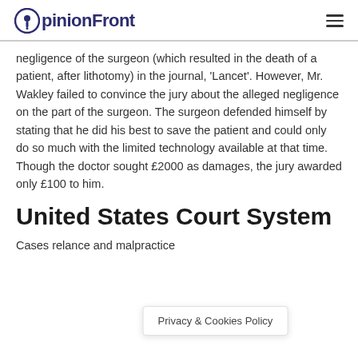OpinionFront
negligence of the surgeon (which resulted in the death of a patient, after lithotomy) in the journal, 'Lancet'. However, Mr. Wakley failed to convince the jury about the alleged negligence on the part of the surgeon. The surgeon defended himself by stating that he did his best to save the patient and could only do so much with the limited technology available at that time. Though the doctor sought £2000 as damages, the jury awarded only £100 to him.
United States Court System
Cases rela... ence and malpractice
Privacy & Cookies Policy